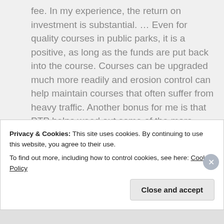fee. In my experience, the return on investment is substantial. … Even for quality courses in public parks, it is a positive, as long as the funds are put back into the course. Courses can be upgraded much more readily and erosion control can help maintain courses that often suffer from heavy traffic. Another bonus for me is that PTP helps weed out some of the more disrespectful and destructive players and groups.
I don't think all or even most courses should
Privacy & Cookies: This site uses cookies. By continuing to use this website, you agree to their use.
To find out more, including how to control cookies, see here: Cookie Policy
Close and accept